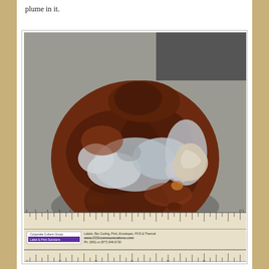plume in it.
[Figure (photo): A large reddish-brown rock specimen with irregular white and gray mineral inclusions or coatings on its surface, photographed on a gray surface. A ruler is visible at the bottom of the image for scale, along with a label from Corporate Culture Group / Label & Print Solutions showing www.CCGcommunications.com, Ph: (506) or (877) 849 6730.]